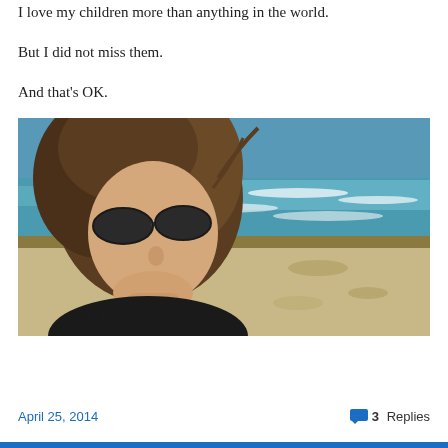I love my children more than anything in the world.
But I did not miss them.
And that's OK.
[Figure (photo): Woman taking a selfie at the beach. She has brown hair and is wearing sunglasses. The ocean with waves is visible in the background along with sandy beach and blue sky.]
April 25, 2014    3 Replies